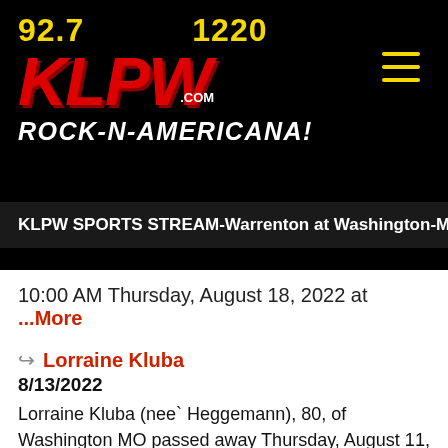[Figure (logo): KLPW radio station logo on black background. Frequencies 92.7 and 1220 in yellow. KLPW in large red italic letters with .com in white. Tagline ROCK-N-AMERICANA! in white italic bold. Hamburger menu icon in yellow on the right.]
KLPW SPORTS STREAM-Warrenton at Washington-M
10:00 AM Thursday, August 18, 2022 at ...More
Lorraine Kluba
8/13/2022
Lorraine Kluba (nee` Heggemann), 80, of Washington MO passed away Thursday, August 11, 2022. She is survived by her husband, Phillip Kluba; four sons ...M